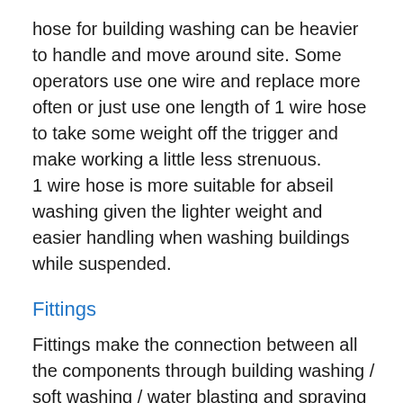hose for building washing can be heavier to handle and move around site. Some operators use one wire and replace more often or just use one length of 1 wire hose to take some weight off the trigger and make working a little less strenuous.
1 wire hose is more suitable for abseil washing given the lighter weight and easier handling when washing buildings while suspended.
Fittings
Fittings make the connection between all the components through building washing / soft washing / water blasting and spraying units. Good fittings and replacement O rings are crucial throughout the whole setup. All connections from tap to tank to pump, through